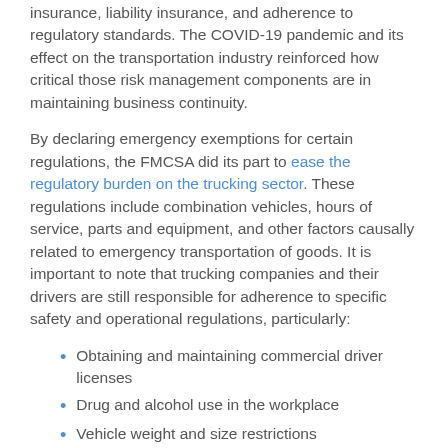insurance, liability insurance, and adherence to regulatory standards. The COVID-19 pandemic and its effect on the transportation industry reinforced how critical those risk management components are in maintaining business continuity.
By declaring emergency exemptions for certain regulations, the FMCSA did its part to ease the regulatory burden on the trucking sector. These regulations include combination vehicles, hours of service, parts and equipment, and other factors causally related to emergency transportation of goods. It is important to note that trucking companies and their drivers are still responsible for adherence to specific safety and operational regulations, particularly:
Obtaining and maintaining commercial driver licenses
Drug and alcohol use in the workplace
Vehicle weight and size restrictions
Transportation of hazardous materials
Requirements for insurance coverage and bonding